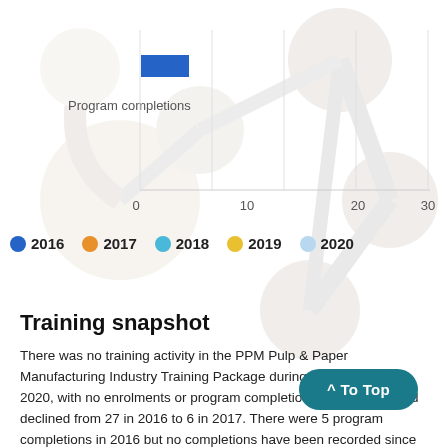[Figure (bar-chart): Program completions]
[Figure (illustration): Faded background image of an atomic/molecular structure model (Atomium-like sculpture)]
2016  2017  2018  2019  2020
Training snapshot
There was no training activity in the PPM Pulp & Paper Manufacturing Industry Training Package during 2018, 2019 or 2020, with no enrolments or program completions. Enrolments had declined from 27 in 2016 to 6 in 2017. There were 5 program completions in 2016 but no completions have been recorded since